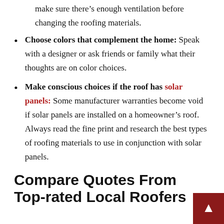make sure there's enough ventilation before changing the roofing materials.
Choose colors that complement the home: Speak with a designer or ask friends or family what their thoughts are on color choices.
Make conscious choices if the roof has solar panels: Some manufacturer warranties become void if solar panels are installed on a homeowner's roof. Always read the fine print and research the best types of roofing materials to use in conjunction with solar panels.
Compare Quotes From Top-rated Local Roofers